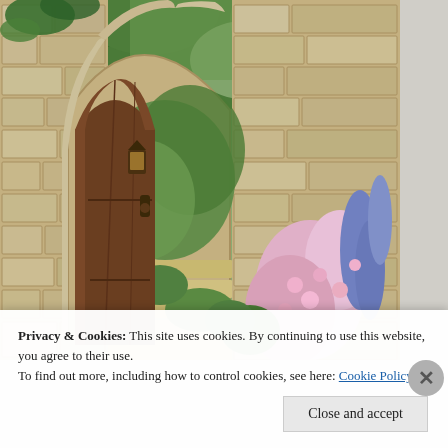[Figure (photo): A stone archway gate with a wooden arched door, opening to a garden path with steps, surrounded by lush greenery, pink and blue flowers, and stone walls covered with ivy.]
Privacy & Cookies: This site uses cookies. By continuing to use this website, you agree to their use.
To find out more, including how to control cookies, see here: Cookie Policy
Close and accept